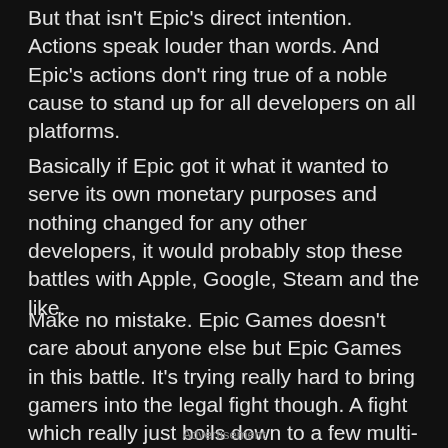But that isn’t Epic’s direct intention. Actions speak louder than words. And Epic’s actions don’t ring true of a noble cause to stand up for all developers on all platforms.
Basically if Epic got it what it wanted to serve its own monetary purposes and nothing changed for any other developers, it would probably stop these battles with Apple, Google, Steam and the like.
Make no mistake. Epic Games doesn’t care about anyone else but Epic Games in this battle. It’s trying really hard to bring gamers into the legal fight though. A fight which really just boils down to a few multi-billion dollar companies (that’s multi-billion) squabbling over who gets more of your money.
Advertisement